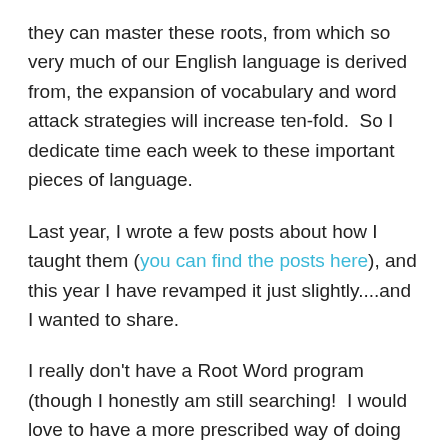they can master these roots, from which so very much of our English language is derived from, the expansion of vocabulary and word attack strategies will increase ten-fold.  So I dedicate time each week to these important pieces of language.
Last year, I wrote a few posts about how I taught them (you can find the posts here), and this year I have revamped it just slightly....and I wanted to share.
I really don't have a Root Word program (though I honestly am still searching!  I would love to have a more prescribed way of doing this other than what I just came up with)  Like last year, I teach my students